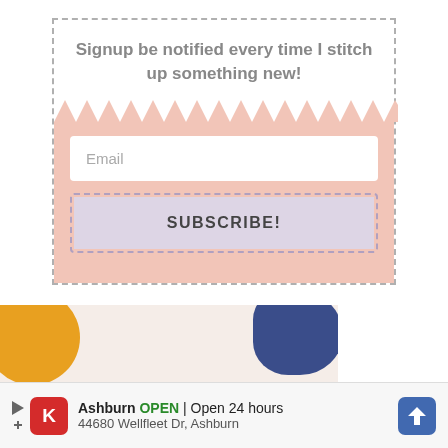Signup be notified every time I stitch up something new!
[Figure (infographic): Email signup form with pink background, zigzag top border, email input field, and subscribe button with dashed border]
[Figure (infographic): Hand curated section with orange circle and blue organic shape on light pink background with large serif text]
[Figure (infographic): Advertisement banner: Kroger store in Ashburn, OPEN 24 hours, 44680 Wellfleet Dr, Ashburn with navigation icon]